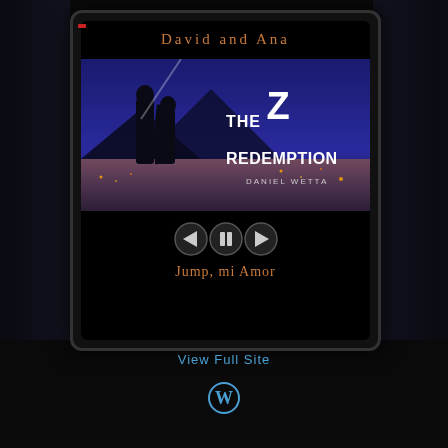David and Ana
[Figure (screenshot): Book cover for 'The Z Redemption' by Daniel Wetta, showing silhouettes of two people against a city skyline at night with blue/purple sky]
[Figure (infographic): Media player controls: back button (left arrow), pause button (two vertical bars), forward button (right arrow) — circular dark buttons]
Jump, mi Amor
View Full Site
[Figure (logo): WordPress logo (circular W icon) in blue]